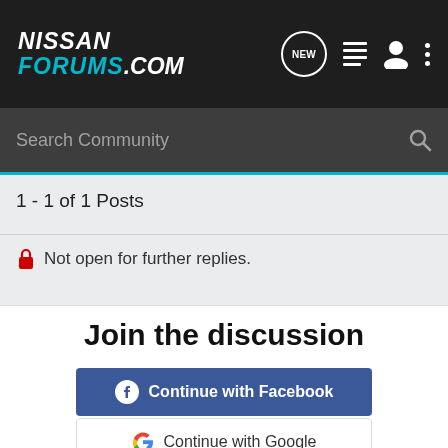NISSAN FORUMS.COM
Search Community
1 - 1 of 1 Posts
Not open for further replies.
Join the discussion
Continue with Facebook
Continue with Google
or sign up with email